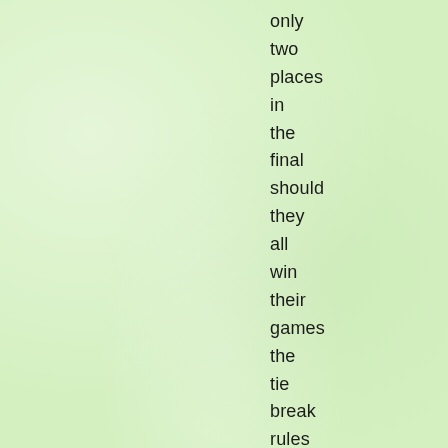only two places in the final should they all win their games the tie break rules would decide.

He had a nervy hour or so before it became